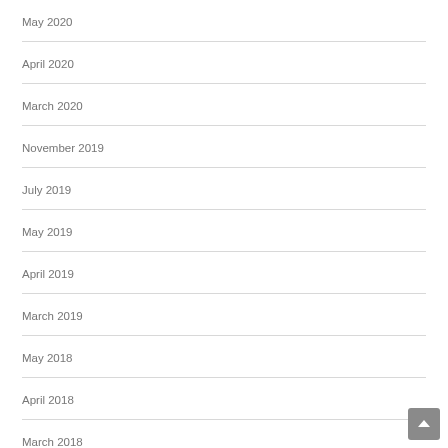May 2020
April 2020
March 2020
November 2019
July 2019
May 2019
April 2019
March 2019
May 2018
April 2018
March 2018
February 2018